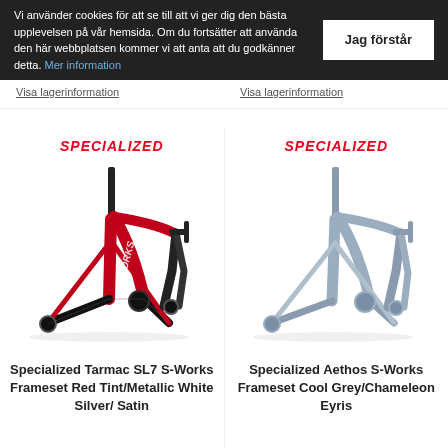Vi använder cookies för att se till att vi ger dig den bästa upplevelsen på vår hemsida. Om du fortsätter att använda den här webbplatsen kommer vi att anta att du godkänner detta. Mer information
Jag förstår
Visa lagerinformation
Visa lagerinformation
[Figure (photo): Specialized logo (red italic text) above a red and black Specialized Tarmac SL7 S-Works bicycle frameset]
Specialized Tarmac SL7 S-Works Frameset Red Tint/Metallic White Silver/ Satin
[Figure (photo): Specialized logo (red italic text) above a cool grey Specialized Aethos S-Works bicycle frameset]
Specialized Aethos S-Works Frameset Cool Grey/Chameleon Eyris